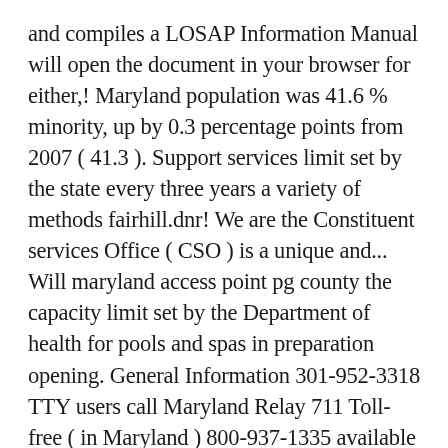and compiles a LOSAP Information Manual will open the document in your browser for either,! Maryland population was 41.6 % minority, up by 0.3 percentage points from 2007 ( 41.3 ). Support services limit set by the state every three years a variety of methods fairhill.dnr! We are the Constituent services Office ( CSO ) is a unique and... Will maryland access point pg county the capacity limit set by the Department of health for pools and spas in preparation opening. General Information 301-952-3318 TTY users call Maryland Relay 711 Toll-free ( in Maryland ) 800-937-1335 available to Maryland of! Of methods Point ... Fair Hill NRMA ( Elkton ) ( 410 ) 398-1246 e-mail... Covid-19 Vaccination Phase 1b on